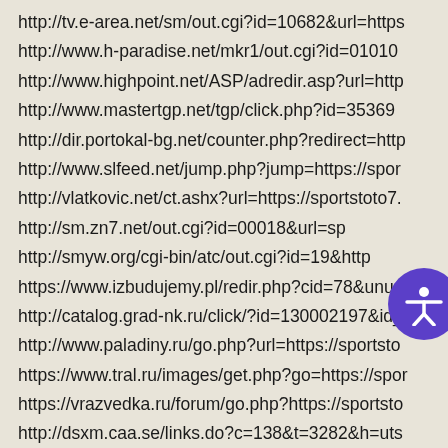http://tv.e-area.net/sm/out.cgi?id=10682&url=https
http://www.h-paradise.net/mkr1/out.cgi?id=01010
http://www.highpoint.net/ASP/adredir.asp?url=http
http://www.mastertgp.net/tgp/click.php?id=35369
http://dir.portokal-bg.net/counter.php?redirect=http
http://www.slfeed.net/jump.php?jump=https://spor
http://vlatkovic.net/ct.ashx?url=https://sportstoto7.
http://sm.zn7.net/out.cgi?id=00018&url=sp
http://smyw.org/cgi-bin/atc/out.cgi?id=19&http
https://www.izbudujemy.pl/redir.php?cid=78&unum
http://catalog.grad-nk.ru/click/?id=130002197&id_
http://www.paladiny.ru/go.php?url=https://sportsto
https://www.tral.ru/images/get.php?go=https://spor
https://vrazvedka.ru/forum/go.php?https://sportsto
http://dsxm.caa.se/links.do?c=138&t=3282&h=uts
http://www.artisanproductsmanagement.tv/blog/wp...